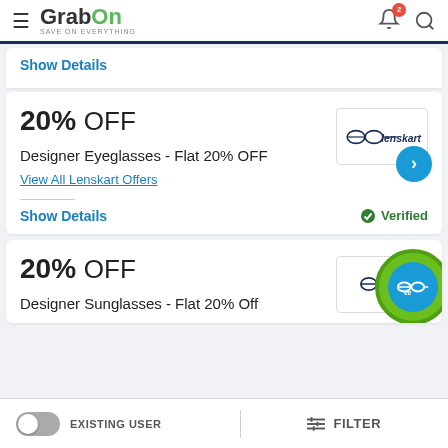GrabOn - SAVE ON EVERYTHING
Show Details
20% OFF
Designer Eyeglasses - Flat 20% OFF
View All Lenskart Offers
[Figure (logo): Lenskart logo with glasses icon]
Show Details
Verified
20% OFF
Designer Sunglasses - Flat 20% Off
[Figure (logo): Lenskart logo partially visible with green circle overlay]
EXISTING USER  |  FILTER